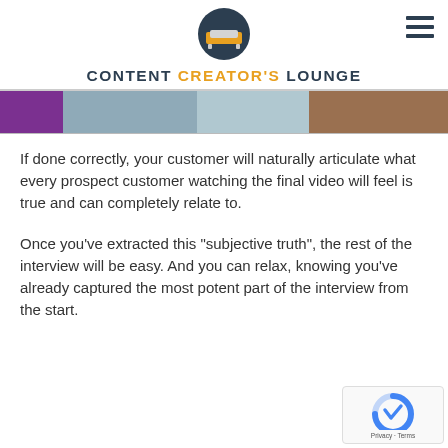CONTENT CREATOR'S LOUNGE
[Figure (photo): Cropped banner photo showing people in a room, with purple, teal, and brown tones visible.]
If done correctly, your customer will naturally articulate what every prospect customer watching the final video will feel is true and can completely relate to.
Once you’ve extracted this “subjective truth”, the rest of the interview will be easy. And you can relax, knowing you’ve already captured the most potent part of the interview from the start.